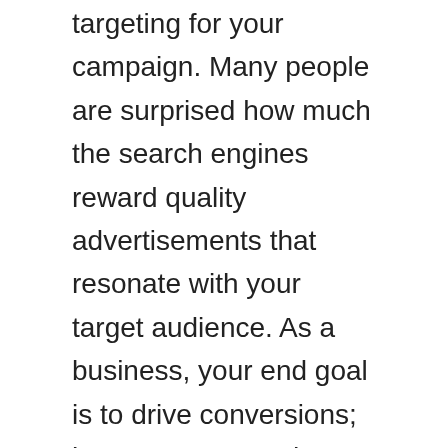targeting for your campaign. Many people are surprised how much the search engines reward quality advertisements that resonate with your target audience. As a business, your end goal is to drive conversions; however, as an ad publisher, the likes of Google and Facebook are looking to improve their user experience and will reward advertisers with lower ad costs for helping them.
The end goal of PPC advertising is to drive conversions, which are the actions that users should perform after clicking your ad. By tracking conversions, you'll know how effective your PPC campaign is. In addition to achieving